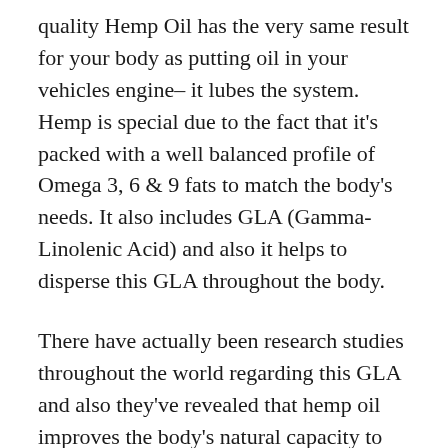quality Hemp Oil has the very same result for your body as putting oil in your vehicles engine– it lubes the system. Hemp is special due to the fact that it's packed with a well balanced profile of Omega 3, 6 & 9 fats to match the body's needs. It also includes GLA (Gamma-Linolenic Acid) and also it helps to disperse this GLA throughout the body.
There have actually been research studies throughout the world regarding this GLA and also they've revealed that hemp oil improves the body's natural capacity to health and wellness, as well as it can increase our body's body immune systems. The crucial fats in hemp are renowned for their capacity to improve cell advancement as well as body organ function and also their stamina.
More research studies have actually revealed that...